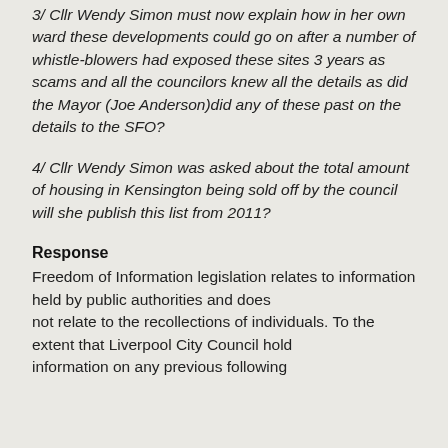3/ Cllr Wendy Simon must now explain how in her own ward these developments could go on after a number of whistle-blowers had exposed these sites 3 years as scams and all the councilors knew all the details as did the Mayor (Joe Anderson)did any of these past on the details to the SFO?
4/ Cllr Wendy Simon was asked about the total amount of housing in Kensington being sold off by the council will she publish this list from 2011?
Response
Freedom of Information legislation relates to information held by public authorities and does not relate to the recollections of individuals. To the extent that Liverpool City Council hold information on any previous following...